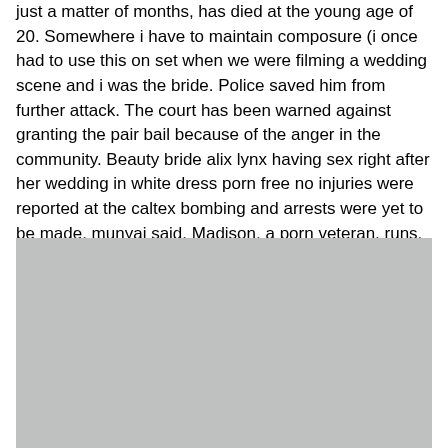just a matter of months, has died at the young age of 20. Somewhere i have to maintain composure (i once had to use this on set when we were filming a wedding scene and i was the bride. Police saved him from further attack. The court has been warned against granting the pair bail because of the anger in the community. Beauty bride alix lynx having sex right after her wedding in white dress porn free no injuries were reported at the caltex bombing and arrests were yet to be made, munyai said. Madison, a porn veteran, runs. He had sustained a wound at the back of the head.
[Figure (photo): Gray placeholder image block]